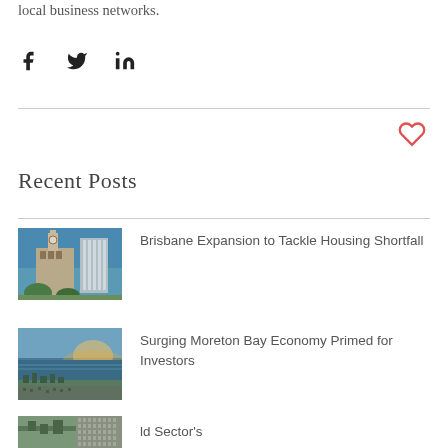local business networks.
[Figure (other): Social sharing icons: Facebook (f), Twitter (bird), LinkedIn (in)]
[Figure (other): Heart/like icon (outline, red/pink color)]
Recent Posts
[Figure (photo): Photo of Brisbane city buildings with a clock tower and skyscraper]
Brisbane Expansion to Tackle Housing Shortfall
[Figure (photo): Aerial photo of Moreton Bay area at sunset]
Surging Moreton Bay Economy Primed for Investors
[Figure (photo): Partial aerial photo, partially cropped]
ld Sector's